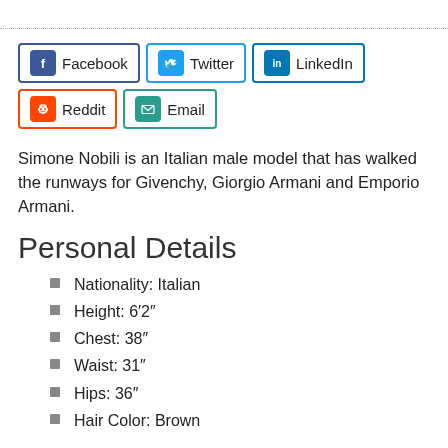[Figure (other): Social share buttons: Facebook, Twitter, LinkedIn, Reddit, Email]
Simone Nobili is an Italian male model that has walked the runways for Givenchy, Giorgio Armani and Emporio Armani.
Personal Details
Nationality: Italian
Height: 6’2”
Chest: 38”
Waist: 31”
Hips: 36”
Hair Color: Brown